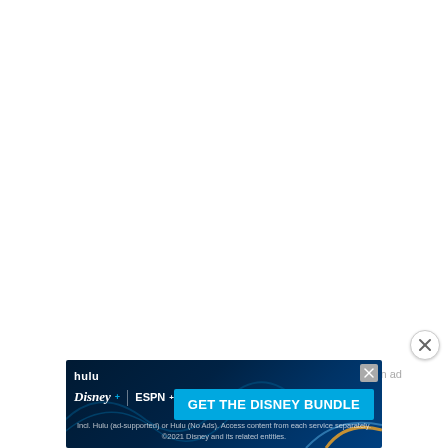[Figure (screenshot): Close button (X in circle) for dismissing an advertisement overlay, positioned at upper right area]
Report an ad
[Figure (screenshot): Disney Bundle advertisement banner featuring Hulu, Disney+, and ESPN+ logos on a dark blue background with 'GET THE DISNEY BUNDLE' call-to-action button. Includes disclaimer: 'Incl. Hulu (ad-supported) or Hulu (No Ads). Access content from each service separately. ©2021 Disney and its related entities.']